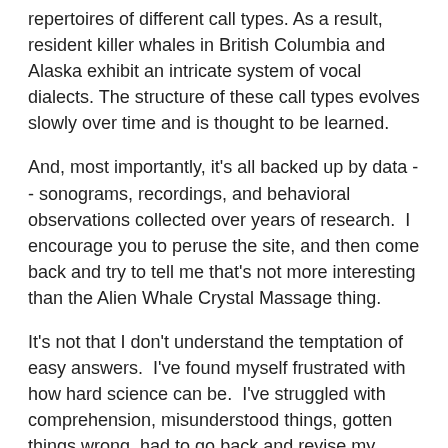repertoires of different call types. As a result, resident killer whales in British Columbia and Alaska exhibit an intricate system of vocal dialects. The structure of these call types evolves slowly over time and is thought to be learned.
And, most importantly, it's all backed up by data -- sonograms, recordings, and behavioral observations collected over years of research.  I encourage you to peruse the site, and then come back and try to tell me that's not more interesting than the Alien Whale Crystal Massage thing.
It's not that I don't understand the temptation of easy answers.  I've found myself frustrated with how hard science can be.  I've struggled with comprehension, misunderstood things, gotten things wrong, had to go back and revise my mental model of how the world works.  More importantly, I've had to get used to admitting, "I don't know the answer to this."
Tolerating uncertainty, however, is uncomfortable for a lot of